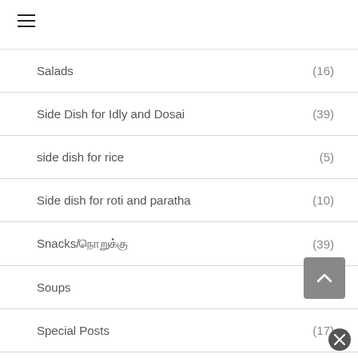☰
Salads (16)
Side Dish for Idly and Dosai (39)
side dish for rice (5)
Side dish for roti and paratha (10)
Snacks/நொறுக்குத் தீனி (39)
Soups (24)
Special Posts (17)
Stir-fried curries / வறுவல்கள் (65)
Summer special (49)